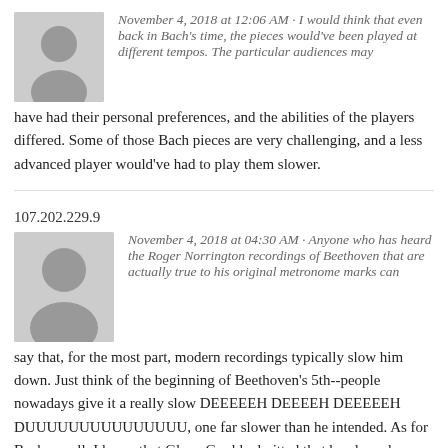November 4, 2018 at 12:06 AM · I would think that even back in Bach's time, the pieces would've been played at different tempos. The particular audiences may have had their personal preferences, and the abilities of the players differed. Some of those Bach pieces are very challenging, and a less advanced player would've had to play them slower.
107.202.229.9
November 4, 2018 at 04:30 AM · Anyone who has heard the Roger Norrington recordings of Beethoven that are actually true to his original metronome marks can say that, for the most part, modern recordings typically slow him down. Just think of the beginning of Beethoven's 5th--people nowadays give it a really slow DEEEEEH DEEEEH DEEEEEH DUUUUUUUUUUUUUUU, one far slower than he intended. As for Bach... well, I know that Glenn Gould admitted that he plowed through some sections of the Goldberg Variations as fast as he could live with, but acknowledged from the crowd he...